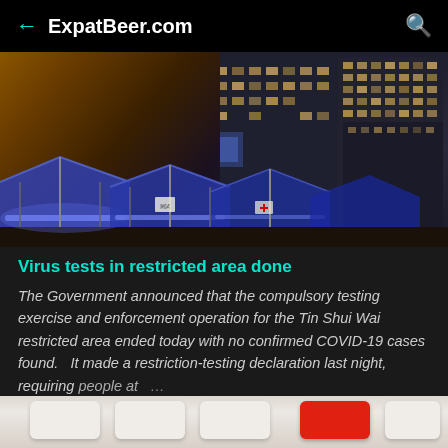ExpatBeer.com
[Figure (photo): Night photo of blue tents/canopies set up in a restricted area for COVID-19 testing, with a tall residential building lit up in the background]
Virus tests in restricted area done
The Government announced that the compulsory testing exercise and enforcement operation for the Tin Shui Wai restricted area ended today with no confirmed COVID-19 cases found. It made a restriction-testing declaration last night, requiring people at …
[Figure (photo): Partial view of computer keyboard keys, with a red key visible, cropped at bottom of page]